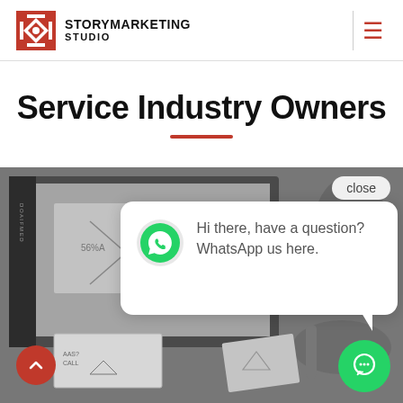StoryMarketing Studio
Service Industry Owners
[Figure (screenshot): Grayscale photo of a design desk with computer monitor showing design files, notebooks with sketches, and a hand holding a pen. A WhatsApp chat popup appears in the foreground with a 'close' button and a green chat button. A red scroll-up button is in the bottom left.]